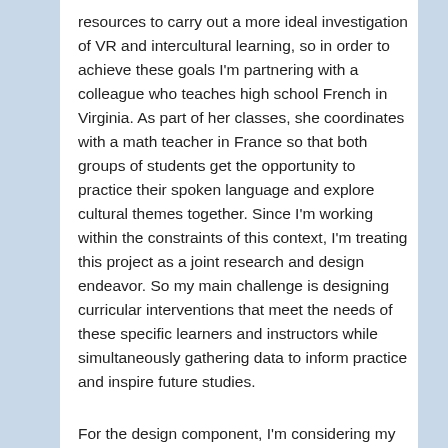resources to carry out a more ideal investigation of VR and intercultural learning, so in order to achieve these goals I'm partnering with a colleague who teaches high school French in Virginia. As part of her classes, she coordinates with a math teacher in France so that both groups of students get the opportunity to practice their spoken language and explore cultural themes together. Since I'm working within the constraints of this context, I'm treating this project as a joint research and design endeavor. So my main challenge is designing curricular interventions that meet the needs of these specific learners and instructors while simultaneously gathering data to inform practice and inspire future studies.
For the design component, I'm considering my colleague as a pseudo-client. I'm working within her existing class structure and technological capacities to provide entirely new or VR variants of current telecollaborative activities. Because many of the specific classroom details are still up in the air,